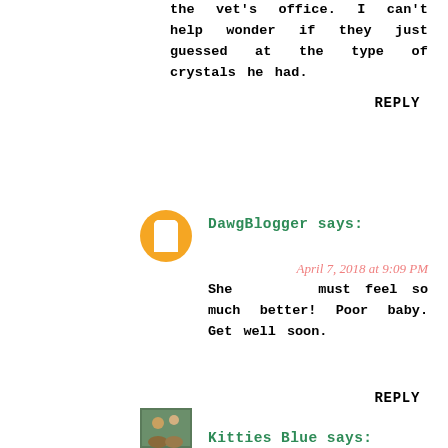the vet's office. I can't help wonder if they just guessed at the type of crystals he had.
REPLY
[Figure (illustration): Orange circle blogger avatar icon with white blogger 'B' logo]
DawgBlogger says:
April 7, 2018 at 9:09 PM
She must feel so much better! Poor baby. Get well soon.
REPLY
[Figure (photo): Small thumbnail photo of cats (Kitties Blue)]
Kitties Blue says: